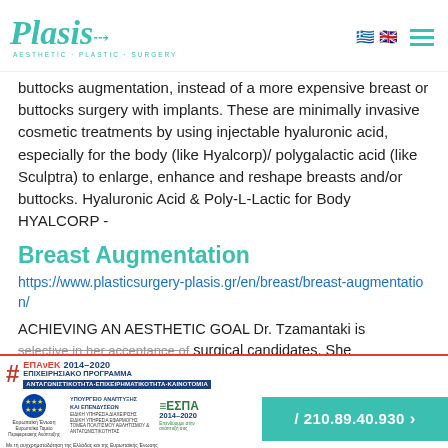Plasis AESTHETIC · PLASTIC · SURGERY
buttocks augmentation, instead of a more expensive breast or buttocks surgery with implants. These are minimally invasive cosmetic treatments by using injectable hyaluronic acid, especially for the body (like Hyalcorp)/ polygalactic acid (like Sculptra) to enlarge, enhance and reshape breasts and/or buttocks. Hyaluronic Acid & Poly-L-Lactic for Body  HYALCORP -
Breast Augmentation
https://www.plasticsurgery-plasis.gr/en/breast/breast-augmentation/
ACHIEVING AN AESTHETIC GOAL Dr. Tzamantaki is selective in her acceptance of surgical candidates. She at breast Reshaping
EPAvEK 2014-2020 ΕΠΙΧΕΙΡΗΣΙΑΚΟ ΠΡΟΓΡΑΜΜΑ ΑΝΤΑΓΩΝΙΣΤΙΚΟΤΗΤΑ·ΕΠΙΧΕΙΡΗΜΑΤΙΚΟΤΗΤΑ·ΚΑΙΝΟΤΟΜΙΑ | ΕΣΠΑ 2014-2020 | 210.89.40.930